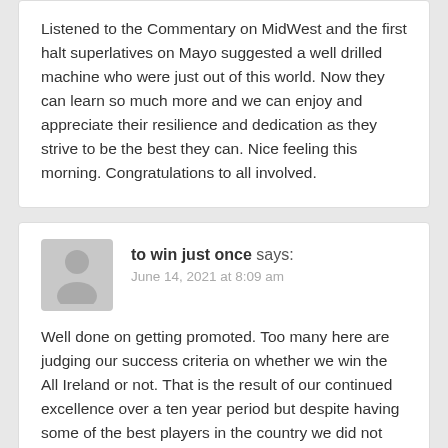Listened to the Commentary on MidWest and the first halt superlatives on Mayo suggested a well drilled machine who were just out of this world. Now they can learn so much more and we can enjoy and appreciate their resilience and dedication as they strive to be the best they can. Nice feeling this morning. Congratulations to all involved.
to win just once says: June 14, 2021 at 8:09 am
Well done on getting promoted. Too many here are judging our success criteria on whether we win the All Ireland or not. That is the result of our continued excellence over a ten year period but despite having some of the best players in the country we did not get over the line. At this moment in time we don't have as many 'best players in the country' (we do have a few excellent players) so I would think we have a very poor chance of All Ireland success. What we do have are a group of very good and enthusiastic young guys coming